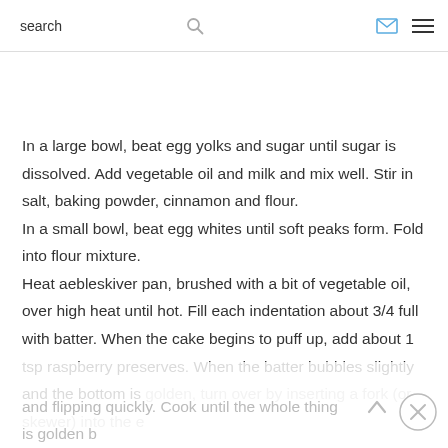search
In a large bowl, beat egg yolks and sugar until sugar is dissolved. Add vegetable oil and milk and mix well. Stir in salt, baking powder, cinnamon and flour.
In a small bowl, beat egg whites until soft peaks form. Fold into flour mixture.
Heat aebleskiver pan, brushed with a bit of vegetable oil, over high heat until hot. Fill each indentation about 3/4 full with batter. When the cake begins to puff up, add about 1 tsp raspberry preserves. When the batter bubbles slightly and the bottom is golden, turn over by inserting a fork (or skewer) into the e and flipping quickly. Cook until the whole thing is golden b